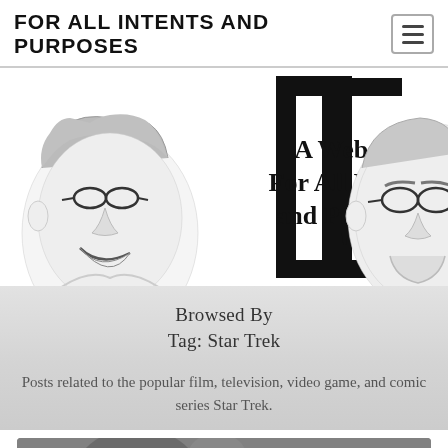FOR ALL INTENTS AND PURPOSES
[Figure (illustration): Website banner showing two caricature portraits flanking a large bracket logo with text 'A Website For All Intents and Purposes' and a comma/apostrophe symbol]
Browsed By
Tag: Star Trek
Posts related to the popular film, television, video game, and comic series Star Trek.
[Figure (photo): Partial view of a post thumbnail image, blurred/dark background]